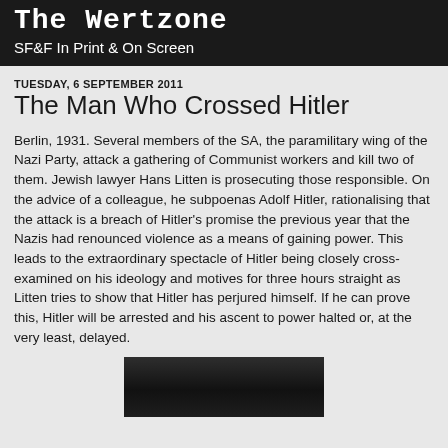The Wertzone
SF&F In Print & On Screen
TUESDAY, 6 SEPTEMBER 2011
The Man Who Crossed Hitler
Berlin, 1931. Several members of the SA, the paramilitary wing of the Nazi Party, attack a gathering of Communist workers and kill two of them. Jewish lawyer Hans Litten is prosecuting those responsible. On the advice of a colleague, he subpoenas Adolf Hitler, rationalising that the attack is a breach of Hitler's promise the previous year that the Nazis had renounced violence as a means of gaining power. This leads to the extraordinary spectacle of Hitler being closely cross-examined on his ideology and motives for three hours straight as Litten tries to show that Hitler has perjured himself. If he can prove this, Hitler will be arrested and his ascent to power halted or, at the very least, delayed.
[Figure (photo): A dark photograph, partially visible at the bottom of the page, appearing to show a face or portrait in low lighting.]